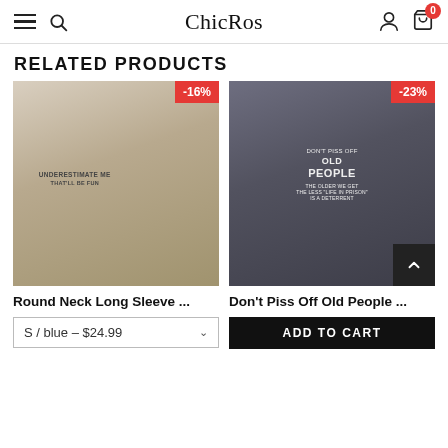ChicRos
RELATED PRODUCTS
[Figure (photo): Woman wearing a grey round neck sweatshirt with text UNDERESTIMATE ME THAT'LL BE FUN, with -16% discount badge]
Round Neck Long Sleeve ...
S / blue – $24.99
[Figure (photo): Woman wearing a dark grey sweatshirt with text DON'T PISS OFF OLD PEOPLE THE OLDER WE GET THE LESS "LIFE IN PRISON" IS A DETERRENT, with -23% discount badge]
Don't Piss Off Old People ...
ADD TO CART